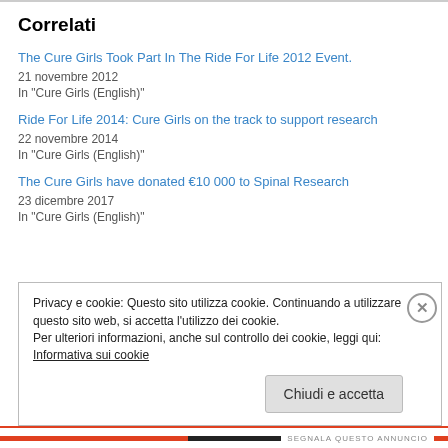Correlati
The Cure Girls Took Part In The Ride For Life 2012 Event.
21 novembre 2012
In "Cure Girls (English)"
Ride For Life 2014: Cure Girls on the track to support research
22 novembre 2014
In "Cure Girls (English)"
The Cure Girls have donated €10 000 to Spinal Research
23 dicembre 2017
In "Cure Girls (English)"
Privacy e cookie: Questo sito utilizza cookie. Continuando a utilizzare questo sito web, si accetta l'utilizzo dei cookie.
Per ulteriori informazioni, anche sul controllo dei cookie, leggi qui:
Informativa sui cookie
Chiudi e accetta